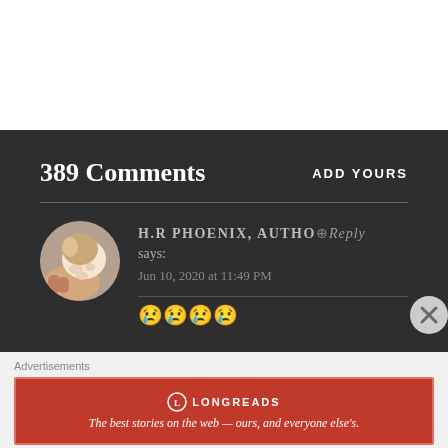389 Comments
ADD YOURS
H.R PHOENIX, AUTHOR Reply says: Jun 10, 2020 at 11:49 PM
[Figure (photo): Circular avatar photo of cat paw being held by a hand]
Advertisements
[Figure (logo): Longreads advertisement banner: The best stories on the web — ours, and everyone else's.]